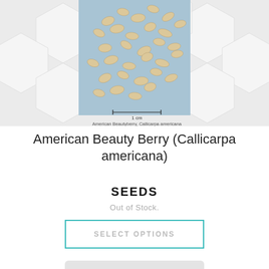[Figure (photo): Close-up photograph of American Beautyberry (Callicarpa americana) seeds scattered on a surface, with a 1 cm scale bar below. Seeds are small, oval, light tan/cream colored. Below the photo reads 'American Beautyberry, Callicarpa americana'.]
American Beauty Berry (Callicarpa americana)
SEEDS
Out of Stock.
SELECT OPTIONS